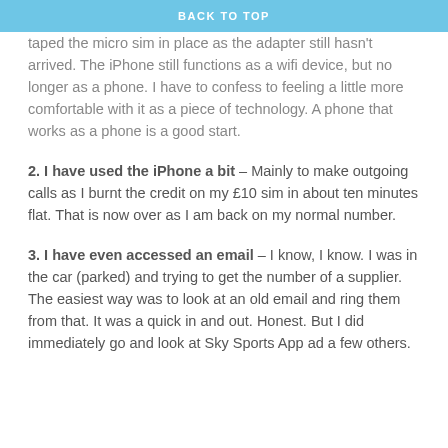BACK TO TOP
I have now had my much older Nokia 6300 unlocked and taped the micro sim in place as the adapter still hasn't arrived. The iPhone still functions as a wifi device, but no longer as a phone. I have to confess to feeling a little more comfortable with it as a piece of technology. A phone that works as a phone is a good start.
2. I have used the iPhone a bit – Mainly to make outgoing calls as I burnt the credit on my £10 sim in about ten minutes flat. That is now over as I am back on my normal number.
3. I have even accessed an email – I know, I know. I was in the car (parked) and trying to get the number of a supplier. The easiest way was to look at an old email and ring them from that. It was a quick in and out. Honest. But I did immediately go and look at Sky Sports App ad a few others.